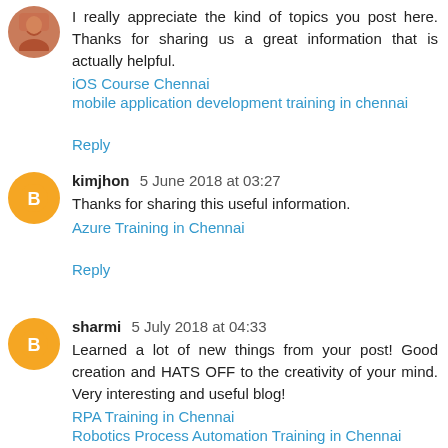I really appreciate the kind of topics you post here. Thanks for sharing us a great information that is actually helpful.
iOS Course Chennai
mobile application development training in chennai
Reply
kimjhon 5 June 2018 at 03:27
Thanks for sharing this useful information.
Azure Training in Chennai
Reply
sharmi 5 July 2018 at 04:33
Learned a lot of new things from your post! Good creation and HATS OFF to the creativity of your mind. Very interesting and useful blog!
RPA Training in Chennai
Robotics Process Automation Training in Chennai
Reply